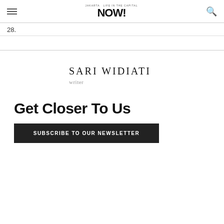NOW! Jakarta - Life in the capital
28.
SARI WIDIATI
writer
Get Closer To Us
SUBSCRIBE TO OUR NEWSLETTER